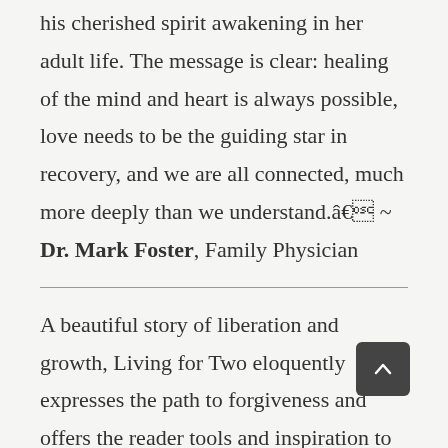his cherished spirit awakening in her adult life. The message is clear: healing of the mind and heart is always possible, love needs to be the guiding star in recovery, and we are all connected, much more deeply than we understand.â€ ~ Dr. Mark Foster, Family Physician
A beautiful story of liberation and growth, Living for Two eloquently expresses the path to forgiveness and offers the reader tools and inspiration to get there. Interspersed with dream-like color paintings and poetry, Laurenâ€™s story blends her